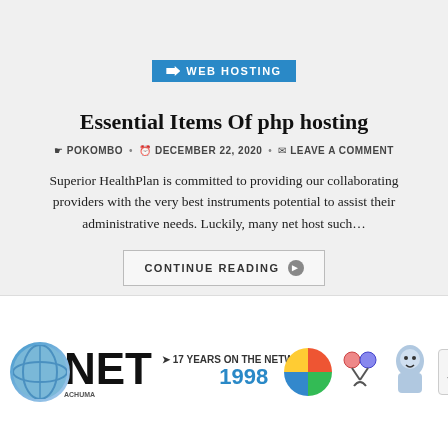WEB HOSTING
Essential Items Of php hosting
POKOMBO · DECEMBER 22, 2020 · LEAVE A COMMENT
Superior HealthPlan is committed to providing our collaborating providers with the very best instruments potential to assist their administrative needs. Luckily, many net host such...
CONTINUE READING
[Figure (logo): NET logo with tagline '17 YEARS ON THE NETWORK :: 1998' alongside colorful circular logos and a BOS group logo]